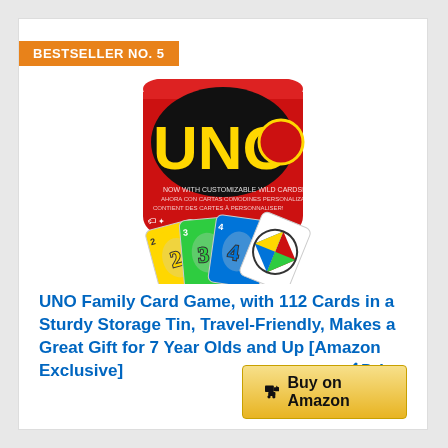BESTSELLER NO. 5
[Figure (photo): UNO Family Card Game tin box with cards fanned out showing colored numbered cards (2, 3, 4) and wild card]
UNO Family Card Game, with 112 Cards in a Sturdy Storage Tin, Travel-Friendly, Makes a Great Gift for 7 Year Olds and Up [Amazon Exclusive]
Buy on Amazon